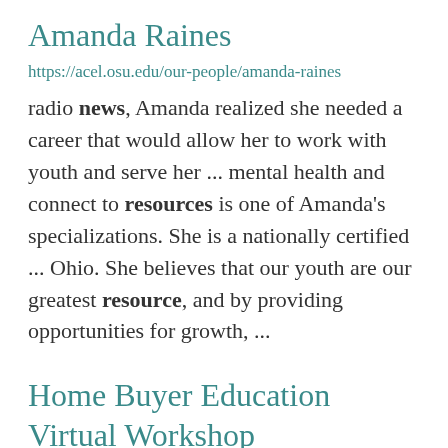Amanda Raines
https://acel.osu.edu/our-people/amanda-raines
radio news, Amanda realized she needed a career that would allow her to work with youth and serve her ... mental health and connect to resources is one of Amanda's specializations. She is a nationally certified ... Ohio. She believes that our youth are our greatest resource, and by providing opportunities for growth, ...
Home Buyer Education Virtual Workshop